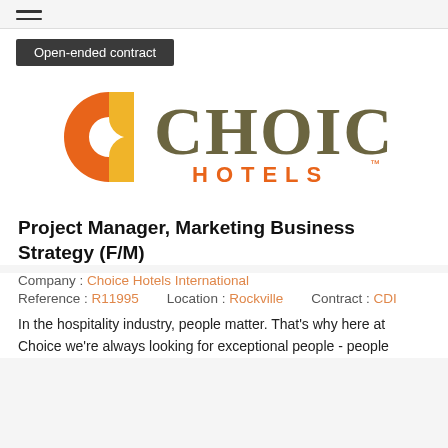≡
Open-ended contract
[Figure (logo): Choice Hotels International logo with orange and yellow 'C' icon and dark olive 'CHOICE HOTELS' wordmark]
Project Manager, Marketing Business Strategy (F/M)
Company : Choice Hotels International
Reference : R11995     Location : Rockville     Contract : CDI
In the hospitality industry, people matter. That's why here at Choice we're always looking for exceptional people - people